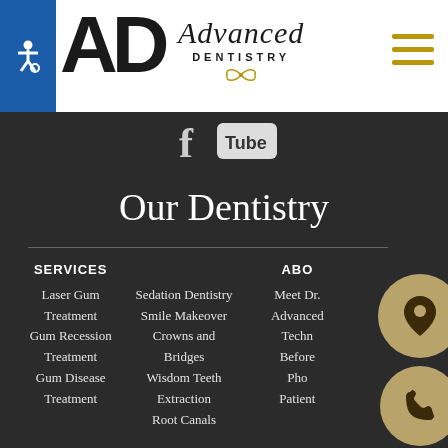[Figure (logo): Advanced Dentistry logo with AD monogram, script 'Advanced' text, and 'DENTISTRY' in caps with gold ornament]
[Figure (illustration): Accessibility wheelchair icon in white on blue background]
[Figure (illustration): Hamburger menu icon (three gold/tan horizontal bars)]
[Figure (illustration): Social media icons - Facebook and YouTube Tube logo]
Our Dentistry
SERVICES
Laser Gum Treatment
Gum Recession Treatment
Gum Disease Treatment
Sedation Dentistry
Smile Makeover
Crowns and Bridges
Wisdom Teeth Extraction
Root Canals
ABO
Meet Dr.
Advanced
Techn
Before
Pho
Patient
[Figure (illustration): Gold circle with map pin/location icon]
[Figure (illustration): Gold circle with phone icon]